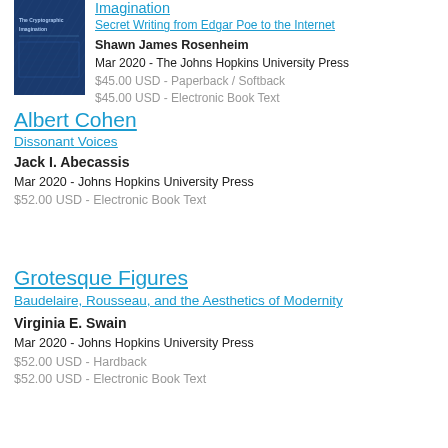[Figure (illustration): Book cover for The Cryptographic Imagination, dark blue patterned cover]
Imagination
Secret Writing from Edgar Poe to the Internet
Shawn James Rosenheim
Mar 2020 - The Johns Hopkins University Press
$45.00 USD - Paperback / Softback
$45.00 USD - Electronic Book Text
Albert Cohen
Dissonant Voices
Jack I. Abecassis
Mar 2020 - Johns Hopkins University Press
$52.00 USD - Electronic Book Text
Grotesque Figures
Baudelaire, Rousseau, and the Aesthetics of Modernity
Virginia E. Swain
Mar 2020 - Johns Hopkins University Press
$52.00 USD - Hardback
$52.00 USD - Electronic Book Text